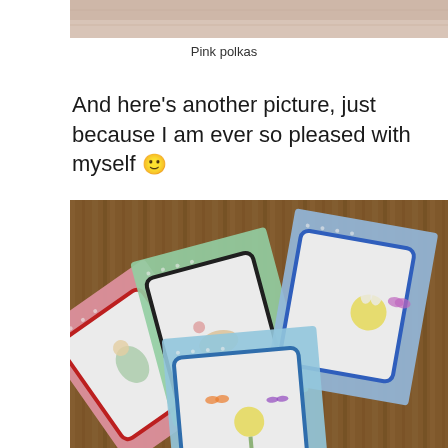[Figure (photo): Top portion of a photo showing pink polka dot background, partially cropped at top of page]
Pink polkas
And here's another picture, just because I am ever so pleased with myself 🙂
[Figure (photo): Photo of multiple handmade greeting cards fanned out on a wooden table. Cards feature polka dot backgrounds in pink, green, and blue, with illustrated designs of animals, flowers, and butterflies. Cards have colored borders in red, black, and blue.]